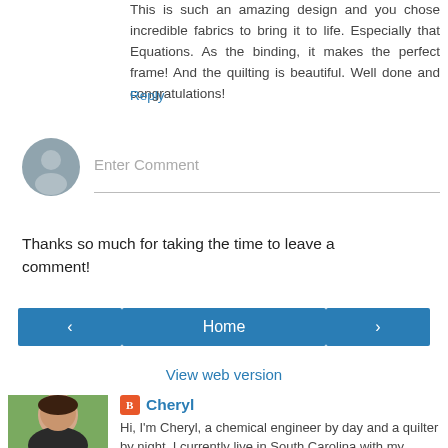This is such an amazing design and you chose incredible fabrics to bring it to life. Especially that Equations. As the binding, it makes the perfect frame! And the quilting is beautiful. Well done and congratulations!
Reply
[Figure (other): Avatar placeholder circle with person silhouette icon]
Enter Comment
Thanks so much for taking the time to leave a comment!
‹
Home
›
View web version
[Figure (photo): Photo of Cheryl, a woman with brown hair]
Cheryl
Hi, I'm Cheryl, a chemical engineer by day and a quilter by night. I currently live in South Carolina with my husband, two children, and three crazy cats.